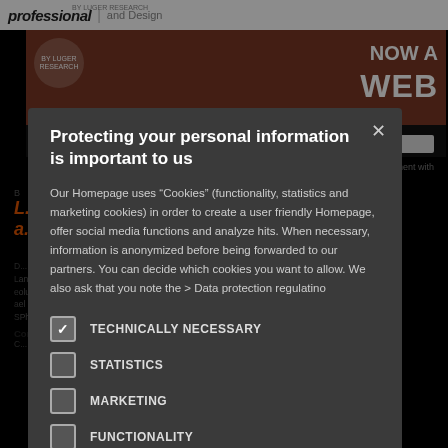[Figure (screenshot): Website page background showing professional lighting publication header, hero image, and article content partially visible behind a cookie consent modal overlay.]
Protecting your personal information is important to us
Our Homepage uses "Cookies" (functionality, statistics and marketing cookies) in order to create a user friendly Homepage, offer social media functions and analyze hits. When necessary, information is anonymized before being forwarded to our partners. You can decide which cookies you want to allow. We also ask that you note the > Data protection regulatino
TECHNICALLY NECESSARY
STATISTICS
MARKETING
FUNCTIONALITY